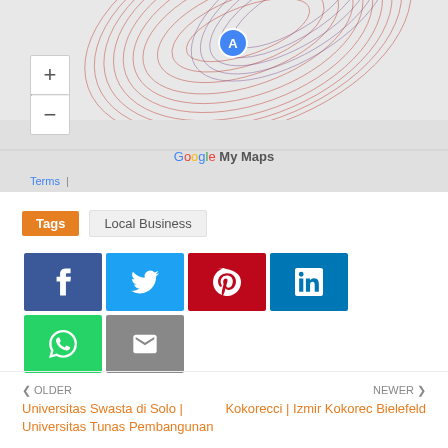[Figure (map): Google My Maps embedded map showing a location marker 'A' with topographic-style overlay patterns in red and purple. Zoom in/out controls visible on left. Google My Maps branding and Terms link at bottom.]
Tags  Local Business
[Figure (infographic): Social sharing buttons row: Facebook (dark blue), Twitter (light blue), Pinterest (red), LinkedIn (blue), WhatsApp (green), and Email (grey)]
< OLDER
Universitas Swasta di Solo | Universitas Tunas Pembangunan
NEWER >
Kokorecci | Izmir Kokorec Bielefeld